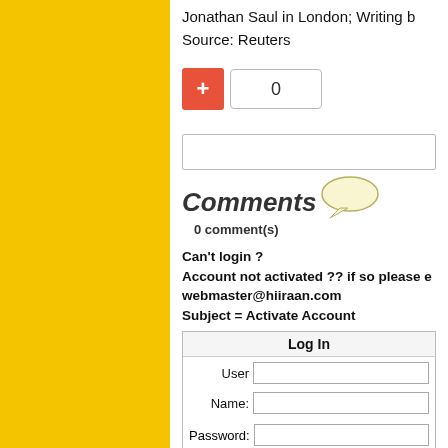Jonathan Saul in London; Writing b
Source: Reuters
[Figure (other): Vote button: red plus button and a vote count box showing 0]
[Figure (other): Search bar input area]
Comments
0 comment(s)
Can't login ?
Account not activated ?? if so please e
webmaster@hiiraan.com
Subject = Activate Account
| Log In |
| --- |
| User |  |
| Name: |  |
| Password: |  |